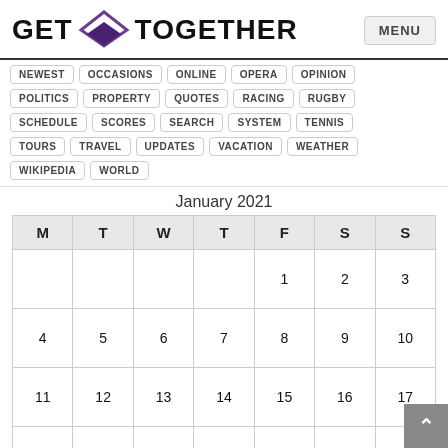GET TOGETHER | MENU
NEWEST | OCCASIONS | ONLINE | OPERA | OPINION
POLITICS | PROPERTY | QUOTES | RACING | RUGBY
SCHEDULE | SCORES | SEARCH | SYSTEM | TENNIS
TOURS | TRAVEL | UPDATES | VACATION | WEATHER
WIKIPEDIA | WORLD
January 2021
| M | T | W | T | F | S | S |
| --- | --- | --- | --- | --- | --- | --- |
|  |  |  |  | 1 | 2 | 3 |
| 4 | 5 | 6 | 7 | 8 | 9 | 10 |
| 11 | 12 | 13 | 14 | 15 | 16 | 17 |
| 18 | 19 | 20 | 21 | 22 | 23 | 24 |